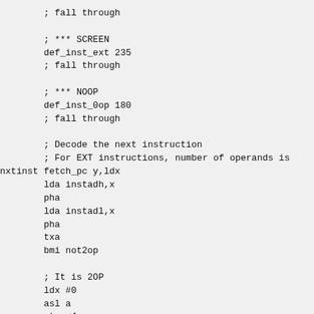; fall through

; *** SCREEN
def_inst_ext 235
; fall through

; *** NOOP
def_inst_0op 180
; fall through

; Decode the next instruction
; For EXT instructions, number of operands is
nxtinst fetch_pc y,ldx
        lda instadh,x
        pha
        lda instadl,x
        pha
        txa
        bmi not2op

        ; It is 2OP
        ldx #0
        asl a
        sta <4
        arr #$C0
        fetch_pc y,lda
        bcc is2op1